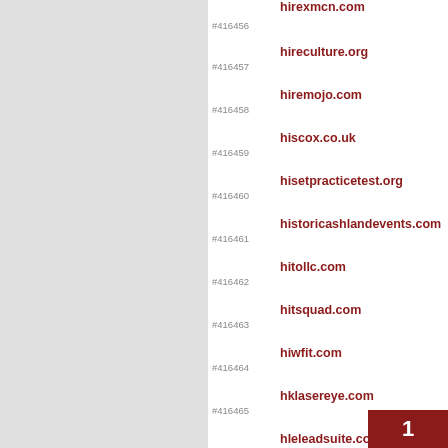#416456 hirexmcn.com
#416457 hireculture.org
#416458 hiremojo.com
#416459 hiscox.co.uk
#416460 hisetpracticetest.org
#416461 historicashlandevents.com
#416462 hitollc.com
#416463 hitsquad.com
#416464 hiwfit.com
#416465 hklasereye.com
#416466 hleleadsuite.com
#416467 hmcdoctors.com
#416468 hmcs.sharepoint
1